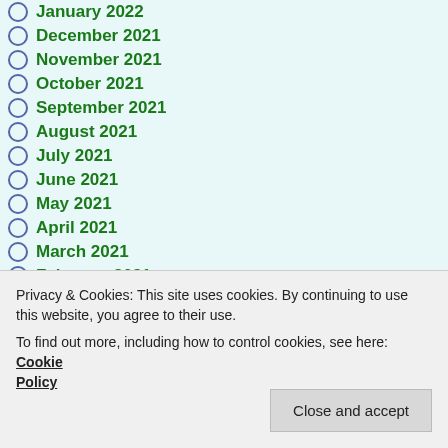January 2022
December 2021
November 2021
October 2021
September 2021
August 2021
July 2021
June 2021
May 2021
April 2021
March 2021
February 2021
January 2021
December 2020
November 2020
October 2020
Privacy & Cookies: This site uses cookies. By continuing to use this website, you agree to their use. To find out more, including how to control cookies, see here: Cookie Policy
February 2020